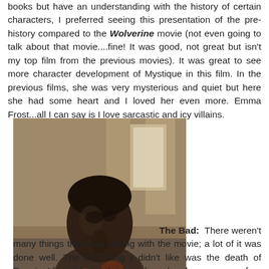books but have an understanding with the history of certain characters, I preferred seeing this presentation of the pre-history compared to the Wolverine movie (not even going to talk about that movie....fine! It was good, not great but isn't my top film from the previous movies). It was great to see more character development of Mystique in this film. In the previous films, she was very mysterious and quiet but here she had some heart and I loved her even more. Emma Frost...all I can say is I love sarcastic and icy villains.
[Figure (photo): A movie still showing a character with dark, textured skin/appearance, likely from an X-Men film, shown from the shoulders up against an indoor background.]
The Bad: There weren't many things that were wrong with the movie; a lot of it was done well. The first thing I didn't like was the death of Darwin. I found it completely awkward and unnecessary for